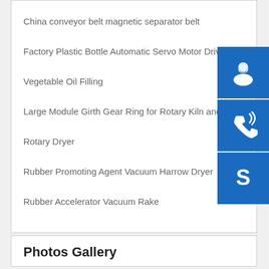China conveyor belt magnetic separator belt
Factory Plastic Bottle Automatic Servo Motor Driv…
Vegetable Oil Filling
Large Module Girth Gear Ring for Rotary Kiln and…
Rotary Dryer
Rubber Promoting Agent Vacuum Harrow Dryer
Rubber Accelerator Vacuum Rake
[Figure (infographic): Three blue icon buttons stacked vertically on the right side: a customer service headset icon, a phone/call icon, and a Skype icon.]
Photos Gallery